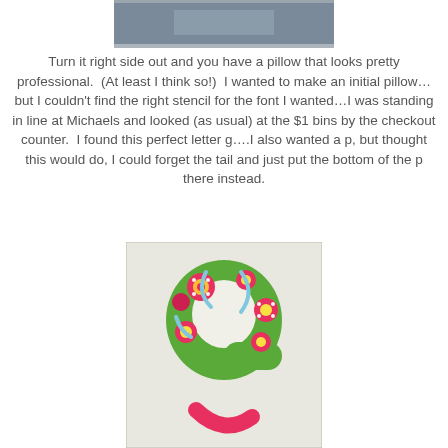[Figure (photo): Top portion of a photo showing a gray/blue background, appears to be top of a pillow or fabric item]
Turn it right side out and you have a pillow that looks pretty professional.  (At least I think so!)  I wanted to make an initial pillow…but I couldn't find the right stencil for the font I wanted…I was standing in line at Michaels and looked (as usual) at the $1 bins by the checkout counter.  I found this perfect letter g….I also wanted a p, but thought this would do, I could forget the tail and just put the bottom of the p there instead.
[Figure (photo): A decorative letter 'g' stencil/cutout with colorful floral and circular patterns in pink, red, green, and blue on a light background]